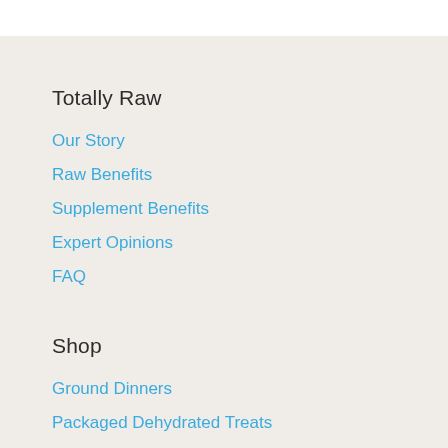Totally Raw
Our Story
Raw Benefits
Supplement Benefits
Expert Opinions
FAQ
Shop
Ground Dinners
Packaged Dehydrated Treats
Bulk Dehydrated Treats
Meaty Bones
Supplements
Cat Meals
Shampoo